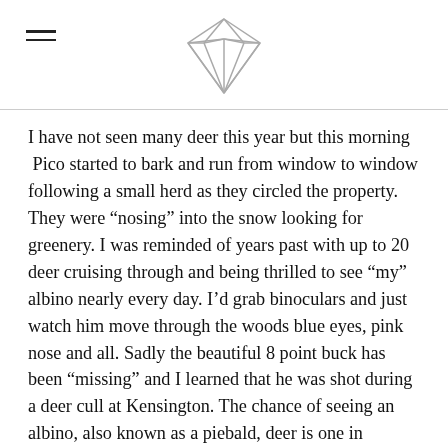[Diamond magazine logo]
I have not seen many deer this year but this morning  Pico started to bark and run from window to window following a small herd as they circled the property. They were “nosing” into the snow looking for greenery. I was reminded of years past with up to 20 deer cruising through and being thrilled to see “my” albino nearly every day. I’d grab binoculars and just watch him move through the woods blue eyes, pink nose and all. Sadly the beautiful 8 point buck has been “missing” and I learned that he was shot during a deer cull at Kensington. The chance of seeing an albino, also known as a piebald, deer is one in 100,000. It is still a mystery why anyone would intentionally shoot such a specimen and very difficult to understand how a “mistake” could be made with such a distinct animal. Although I never named him, I wanted to but couldn’t come up